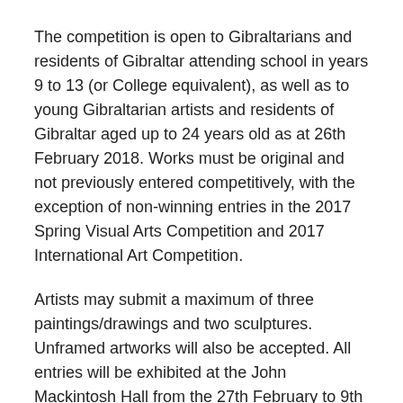The competition is open to Gibraltarians and residents of Gibraltar attending school in years 9 to 13 (or College equivalent), as well as to young Gibraltarian artists and residents of Gibraltar aged up to 24 years old as at 26th February 2018. Works must be original and not previously entered competitively, with the exception of non-winning entries in the 2017 Spring Visual Arts Competition and 2017 International Art Competition.
Artists may submit a maximum of three paintings/drawings and two sculptures. Unframed artworks will also be accepted. All entries will be exhibited at the John Mackintosh Hall from the 27th February to 9th March 2018.
Prizes to be awarded are:
1st Prize: The Minister of Culture Prize of £1,000...